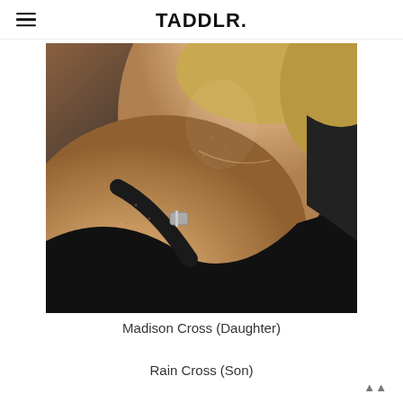TADDLR.
[Figure (photo): Close-up photo of a person's neck and shoulder area, wearing a black top/bra with a silver buckle strap. The person has blonde hair and fair skin with freckles, and appears to be wearing a delicate necklace.]
Madison Cross (Daughter)
Rain Cross (Son)